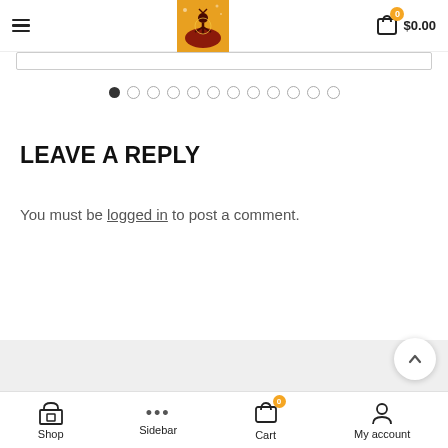≡  [Logo image: yoga silhouette sunset]  🛒 0  $0.00
[Figure (other): Horizontal slider/carousel indicator with 12 dots, first dot filled/active]
LEAVE A REPLY
You must be logged in to post a comment.
Shop | Sidebar | Cart (0) | My account